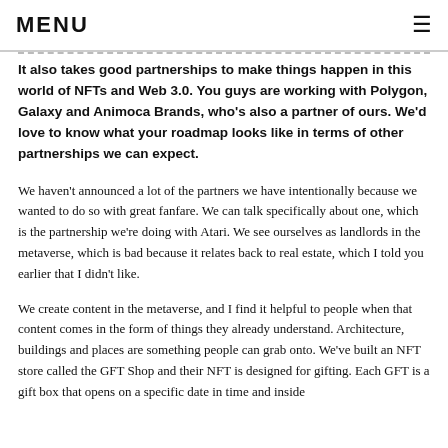MENU ≡
It also takes good partnerships to make things happen in this world of NFTs and Web 3.0. You guys are working with Polygon, Galaxy and Animoca Brands, who's also a partner of ours. We'd love to know what your roadmap looks like in terms of other partnerships we can expect.
We haven't announced a lot of the partners we have intentionally because we wanted to do so with great fanfare. We can talk specifically about one, which is the partnership we're doing with Atari. We see ourselves as landlords in the metaverse, which is bad because it relates back to real estate, which I told you earlier that I didn't like.
We create content in the metaverse, and I find it helpful to people when that content comes in the form of things they already understand. Architecture, buildings and places are something people can grab onto. We've built an NFT store called the GFT Shop and their NFT is designed for gifting. Each GFT is a gift box that opens on a specific date in time and inside